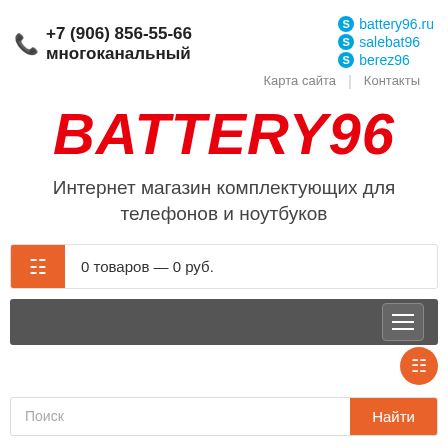+7 (906) 856-55-66 многоканальный
battery96.ru
salebat96
berez96
Карта сайта | Контакты
BATTERY96
Интернет магазин комплектующих для телефонов и ноутбуков
0 товаров — 0 руб.
Поиск
Найти